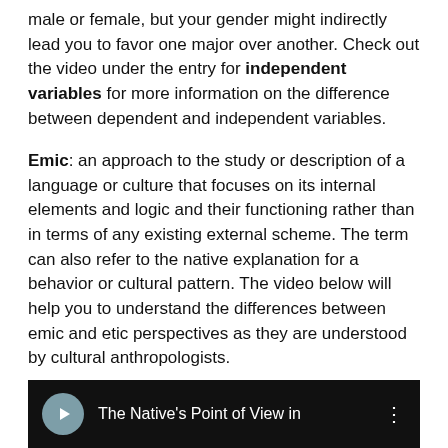male or female, but your gender might indirectly lead you to favor one major over another.  Check out the video under the entry for independent variables for more information on the difference between dependent and independent variables.
Emic: an approach to the study or description of a language or culture that focuses on its internal elements and logic and their functioning rather than in terms of any existing external scheme.  The term can also refer to the native explanation for a behavior or cultural pattern.  The video below will help you to understand the differences between emic and etic perspectives as they are understood by cultural anthropologists.
[Figure (screenshot): Video thumbnail with dark background showing a circular icon with a caret/arrow logo and the text 'The Native's Point of View in' with a vertical ellipsis menu icon]